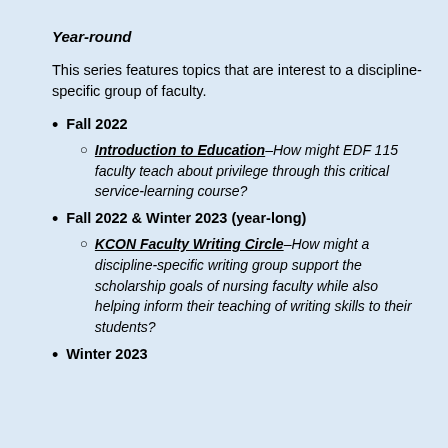Year-round
This series features topics that are interest to a discipline-specific group of faculty.
Fall 2022
Introduction to Education – How might EDF 115 faculty teach about privilege through this critical service-learning course?
Fall 2022 & Winter 2023 (year-long)
KCON Faculty Writing Circle – How might a discipline-specific writing group support the scholarship goals of nursing faculty while also helping inform their teaching of writing skills to their students?
Winter 2023